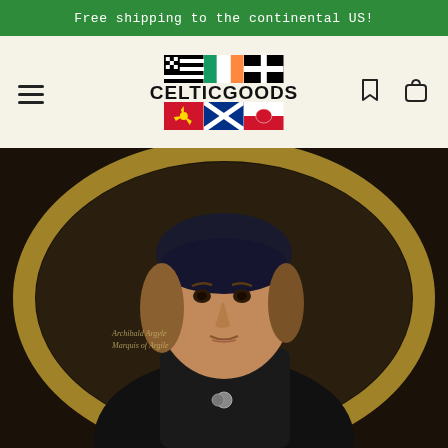Free shipping to the continental US!
[Figure (logo): CelticGoods logo with six Celtic nation flags (Brittany, Ireland, Cornwall top row; Isle of Man, Scotland, Wales bottom row) and the text CELTICGOODS]
[Figure (photo): Historical oil portrait painting of a man wearing a dark cap and white collar, identified as Marquis of Argyle, set within an oval golden frame against a dark background. Text on painting reads 'Archibald Argyle Marquis of Argile']